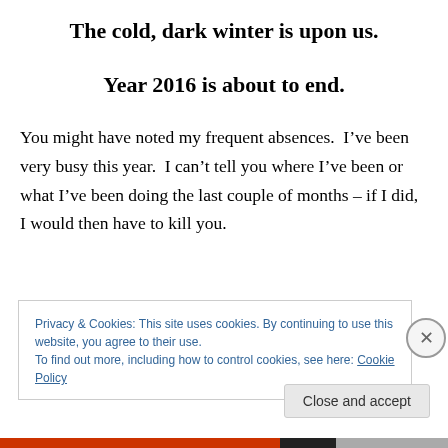The cold, dark winter is upon us.
Year 2016 is about to end.
You might have noted my frequent absences.  I’ve been very busy this year.  I can’t tell you where I’ve been or what I’ve been doing the last couple of months – if I did, I would then have to kill you.
Privacy & Cookies: This site uses cookies. By continuing to use this website, you agree to their use.
To find out more, including how to control cookies, see here: Cookie Policy
Close and accept